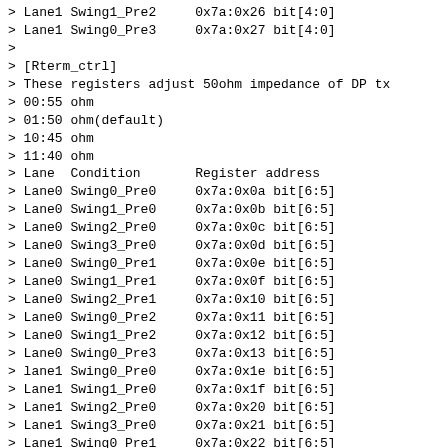> Lane1 Swing1_Pre2     0x7a:0x26 bit[4:0]
> Lane1 Swing0_Pre3     0x7a:0x27 bit[4:0]
>
> [Rterm_ctrl]
> These registers adjust 50ohm impedance of DP tx
> 00:55 ohm
> 01:50 ohm(default)
> 10:45 ohm
> 11:40 ohm
> Lane  Condition       Register address
> Lane0 Swing0_Pre0     0x7a:0x0a bit[6:5]
> Lane0 Swing1_Pre0     0x7a:0x0b bit[6:5]
> Lane0 Swing2_Pre0     0x7a:0x0c bit[6:5]
> Lane0 Swing3_Pre0     0x7a:0x0d bit[6:5]
> Lane0 Swing0_Pre1     0x7a:0x0e bit[6:5]
> Lane0 Swing1_Pre1     0x7a:0x0f bit[6:5]
> Lane0 Swing2_Pre1     0x7a:0x10 bit[6:5]
> Lane0 Swing0_Pre2     0x7a:0x11 bit[6:5]
> Lane0 Swing1_Pre2     0x7a:0x12 bit[6:5]
> Lane0 Swing0_Pre3     0x7a:0x13 bit[6:5]
> lane1 Swing0_Pre0     0x7a:0x1e bit[6:5]
> Lane1 Swing1_Pre0     0x7a:0x1f bit[6:5]
> Lane1 Swing2_Pre0     0x7a:0x20 bit[6:5]
> Lane1 Swing3_Pre0     0x7a:0x21 bit[6:5]
> Lane1 Swing0_Pre1     0x7a:0x22 bit[6:5]
> Lane1 Swing1_Pre1     0x7a:0x23 bit[6:5]
> Lane1 Swing2_Pre1     0x7a:0x24 bit[6:5]
> Lane1 Swing0_Pre2     0x7a:0x25 bit[6:5]
> Lane1 Swing1_Pre2     0x7a:0x26 bit[6:5]
> Lane1 Swing0_Pre3     0x7a:0x27 bit[6:5]